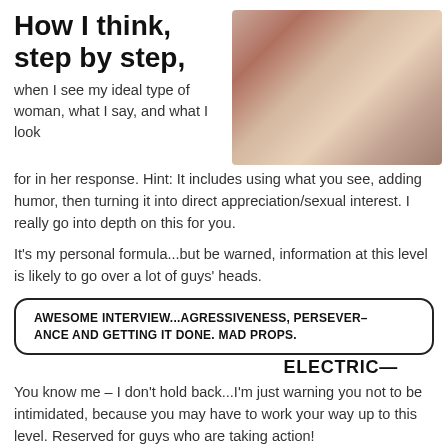How I think, step by step,
[Figure (photo): Close-up photo of a woman, cropped, warm tones]
when I see my ideal type of woman, what I say, and what I look for in her response. Hint: It includes using what you see, adding humor, then turning it into direct appreciation/sexual interest. I really go into depth on this for you.
It's my personal formula...but be warned, information at this level is likely to go over a lot of guys' heads.
AWESOME INTERVIEW...AGRESSIVENESS, PERSEVERANCE AND GETTING IT DONE. MAD PROPS.
ELECTRIC
You know me – I don't hold back...I'm just warning you not to be intimidated, because you may have to work your way up to this level. Reserved for guys who are taking action!
HYPER AGGRESSIVE APPROACHES – how to break the ice by